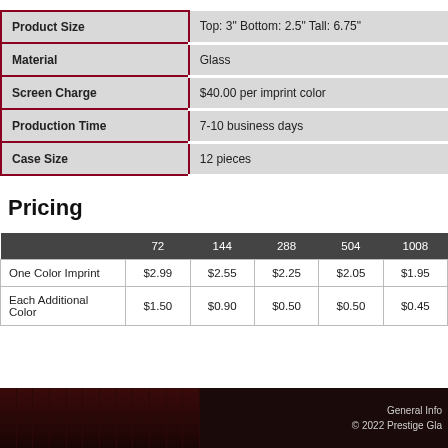|  |  |
| --- | --- |
| Product Size | Top: 3" Bottom: 2.5" Tall: 6.75" |
| Material | Glass |
| Screen Charge | $40.00 per imprint color |
| Production Time | 7-10 business days |
| Case Size | 12 pieces |
Pricing
|  | 72 | 144 | 288 | 504 | 1008 |
| --- | --- | --- | --- | --- | --- |
| One Color Imprint | $2.99 | $2.55 | $2.25 | $2.05 | $1.95 |
| Each Additional Color | $1.50 | $0.90 | $0.50 | $0.50 | $0.45 |
General Info
© 2022 Prestige Gla